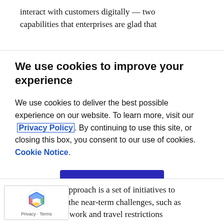interact with customers digitally — two capabilities that enterprises are glad that
We use cookies to improve your experience
We use cookies to deliver the best possible experience on our website. To learn more, visit our Privacy Policy. By continuing to use this site, or closing this box, you consent to our use of cookies. Cookie Notice.
Accept
posed approach is a set of initiatives to al with the near-term challenges, such as expanded remote work and travel restrictions